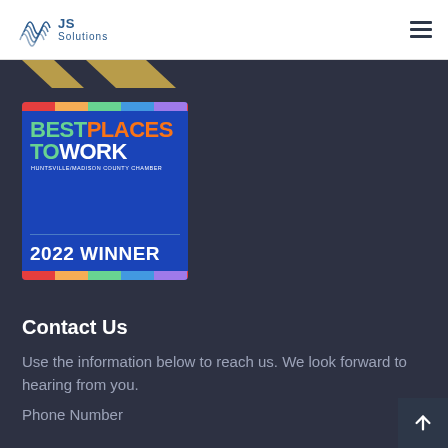JS Solutions
[Figure (logo): JS Solutions logo with wave graphic and text]
[Figure (illustration): Gold chevron/arrow shapes at top of dark section]
[Figure (other): Best Places to Work Huntsville/Madison County Chamber 2022 Winner badge on blue background with multicolor stripes]
Contact Us
Use the information below to reach us. We look forward to hearing from you.
Phone Number